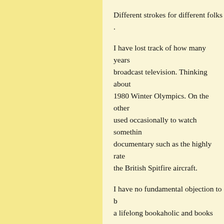Different strokes for different folks .
I have lost track of how many years broadcast television. Thinking about 1980 Winter Olympics. On the other used occasionally to watch something documentary such as the highly rated the British Spitfire aircraft.
I have no fundamental objection to b a lifelong bookaholic and books are to me than broadcast TV.
On the other hand, my wife - who is practically lives in front of the televi waste of time, IMO. Granted, most c news, BBC America, and commercia avoids the worst of the categories yo
I found it amusing that when our sor